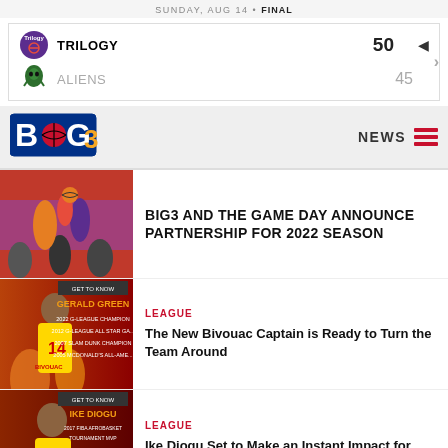SUNDAY, AUG 14 • FINAL
| Team | Score |
| --- | --- |
| TRILOGY | 50 |
| ALIENS | 45 |
[Figure (logo): BIG3 basketball league logo]
NEWS
[Figure (photo): Basketball game action photo]
BIG3 AND THE GAME DAY ANNOUNCE PARTNERSHIP FOR 2022 SEASON
LEAGUE
[Figure (photo): Get to Know Gerald Green - 2022 G-League Champion, 2012 G-League All Star Game, 2007 Slam Dunk Champion, 2005 McDonald's All-American]
The New Bivouac Captain is Ready to Turn the Team Around
LEAGUE
[Figure (photo): Get to Know Ike Diogu - 2017 FIBA Afrobasket Tournament MVP, 2014 G-League Impact Player of the Year, 2005 PAC-10 Player of the Year]
Ike Diogu Set to Make an Instant Impact for Bivouac